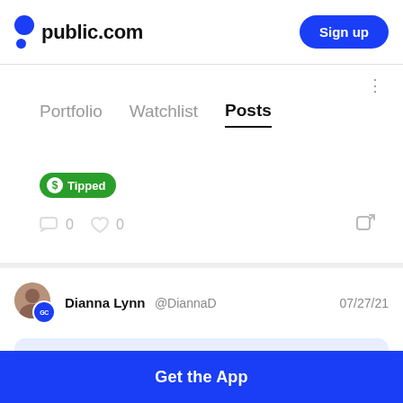public.com  Sign up
Portfolio   Watchlist   Posts
Tipped
0  0
Dianna Lynn @DiannaD  07/27/21
Added General Dynamics to Watchlist
Get the App